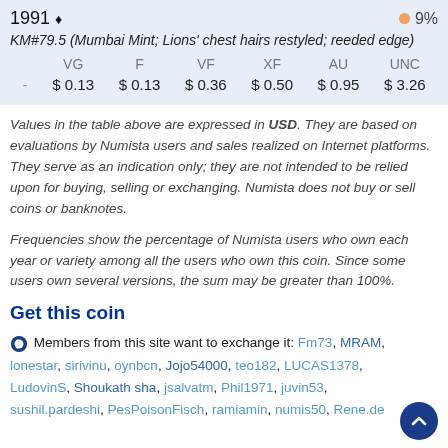|  | VG | F | VF | XF | AU | UNC |
| --- | --- | --- | --- | --- | --- | --- |
| 1991 ♦  9% |  |  |  |  |  |  |
| - | $0.13 | $0.13 | $0.36 | $0.50 | $0.95 | $3.26 |
Values in the table above are expressed in USD. They are based on evaluations by Numista users and sales realized on Internet platforms. They serve as an indication only; they are not intended to be relied upon for buying, selling or exchanging. Numista does not buy or sell coins or banknotes.
Frequencies show the percentage of Numista users who own each year or variety among all the users who own this coin. Since some users own several versions, the sum may be greater than 100%.
Get this coin
Members from this site want to exchange it: Fm73, MRAM, lonestar, sirivinu, oynbcn, Jojo54000, teo182, LUCAS1378, LudovinS, Shoukath sha, jsalvatm, Phil1971, juvin53, sushil.pardeshi, PesPoisonFisch, ramiamin, numis50, Rene.de